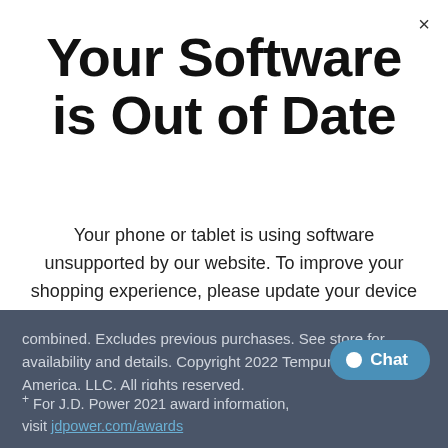Your Software is Out of Date
Your phone or tablet is using software unsupported by our website. To improve your shopping experience, please update your device to the latest version of iOS or Android OS.
combined. Excludes previous purchases. See store for availability and details. Copyright 2022 Tempur-Pedic North America, LLC. All rights reserved.
+ For J.D. Power 2021 award information, visit jdpower.com/awards